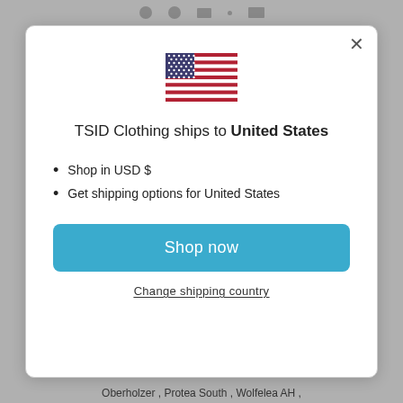[Figure (illustration): US flag emoji/image centered at top of modal]
TSID Clothing ships to United States
Shop in USD $
Get shipping options for United States
Shop now
Change shipping country
Oberholzer , Protea South , Wolfelea AH ,